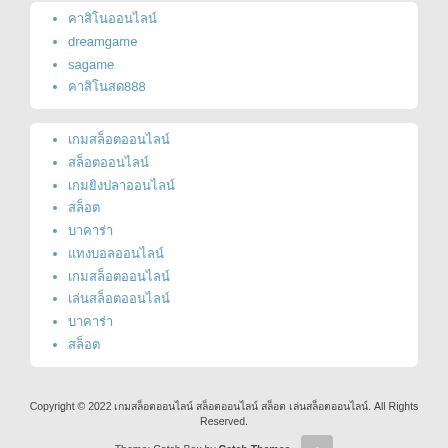คาสิโนออนไลน์
dreamgame
sagame
คาสิโนสด888
เกมสล็อตออนไลน์
สล็อตออนไลน์
เกมยิงปลาออนไลน์
สล็อต
บาคาร่า
แทงบอลออนไลน์
เกมสล็อตออนไลน์
เล่นสล็อตออนไลน์
บาคาร่า
สล็อต
Copyright © 2022 เกมสล็อตออนไลน์ สล็อตออนไลน์ สล็อต เล่นสล็อตออนไลน์. All Rights Reserved. Theme: Catch Box by Catch Themes